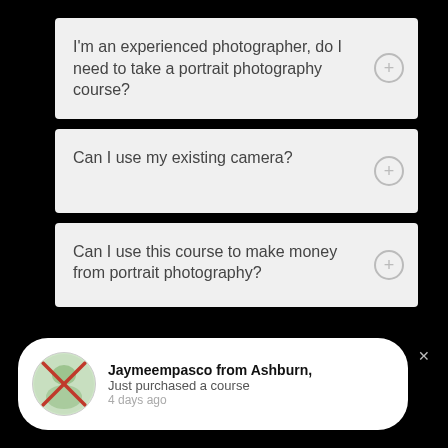I'm an experienced photographer, do I need to take a portrait photography course?
Can I use my existing camera?
Can I use this course to make money from portrait photography?
Jaymeempasco from Ashburn, Just purchased a course 4 days ago